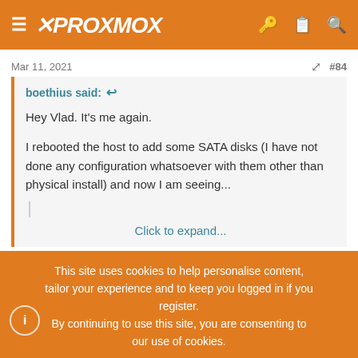PROXMOX
Mar 11, 2021  #84
boethius said:

Hey Vlad. It's me again.

I rebooted the host to add some SATA disks (I have not done any configuration whatsoever with them other than physical install) and now I am seeing...

Click to expand...
This site uses cookies to help personalise content, tailor your experience and to keep you logged in if you register.
By continuing to use this site, you are consenting to our use of cookies.
Accept
Learn more...